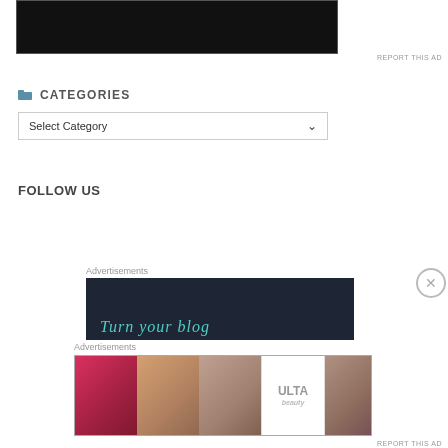[Figure (other): Dark/black advertisement banner at top of page]
REPORT THIS AD
CATEGORIES
Select Category
FOLLOW US
Advertisements
[Figure (other): Dark ad banner with teal text reading 'Turn your blog']
Advertisements
[Figure (other): ULTA beauty advertisement banner with makeup imagery and SHOP NOW button]